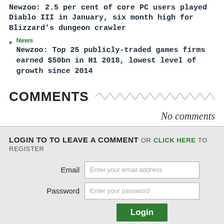Newzoo: 2.5 per cent of core PC users played Diablo III in January, six month high for Blizzard's dungeon crawler
News
Newzoo: Top 25 publicly-traded games firms earned $50bn in H1 2018, lowest level of growth since 2014
COMMENTS
No comments
LOGIN TO TO LEAVE A COMMENT OR CLICK HERE TO REGISTER
Email
Enter your email address
Password
Enter your password
Login
Forgot password?
Login with Facebook
Sign in with Twitter